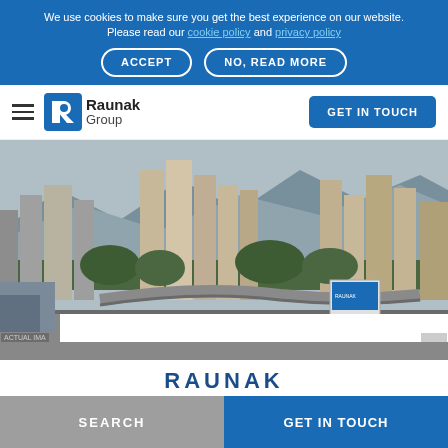We use cookies to make sure you get the best experience on our website. Please read our cookie policy and privacy policy
ACCEPT
NO, READ MORE
[Figure (logo): Raunak Group logo with stylized R icon in blue and company name]
GET IN TOUCH
[Figure (photo): Aerial cityscape photograph showing high-rise residential buildings, a highway flyover, and mountains in the background — Mumbai city]
RAUNAK
SEARCH
GET IN TOUCH